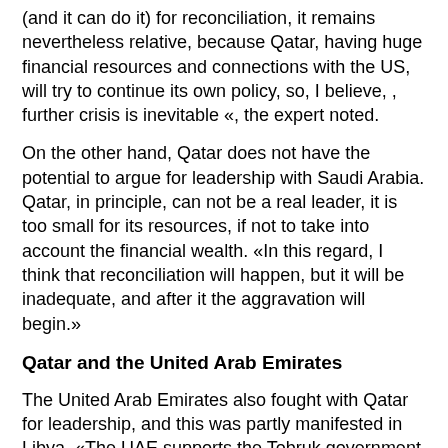(and it can do it) for reconciliation, it remains nevertheless relative, because Qatar, having huge financial resources and connections with the US, will try to continue its own policy, so, I believe, , further crisis is inevitable «, the expert noted.
On the other hand, Qatar does not have the potential to argue for leadership with Saudi Arabia. Qatar, in principle, can not be a real leader, it is too small for its resources, if not to take into account the financial wealth. «In this regard, I think that reconciliation will happen, but it will be inadequate, and after it the aggravation will begin.»
Qatar and the United Arab Emirates
The United Arab Emirates also fought with Qatar for leadership, and this was partly manifested in Libya. «The UAE supports the Tobruk government, and Qatar supports Islamic radicals, in particular ISIS. «In other words, there was a rivalry between Qatar and the UAE before, but it was less acute than